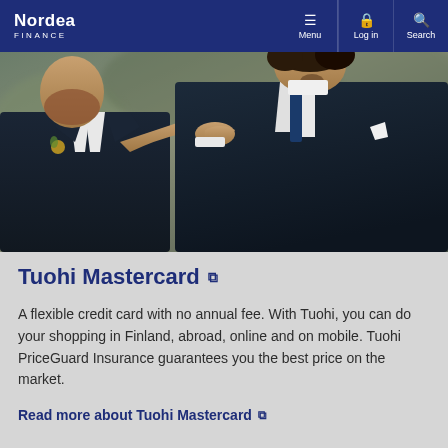Nordea Finance — Menu | Log in | Search
[Figure (photo): Two men in formal dark suits at a wedding, one adjusting the other's bow tie or collar, close-up shot with blurred outdoor background.]
Tuohi Mastercard
A flexible credit card with no annual fee. With Tuohi, you can do your shopping in Finland, abroad, online and on mobile. Tuohi PriceGuard Insurance guarantees you the best price on the market.
Read more about Tuohi Mastercard